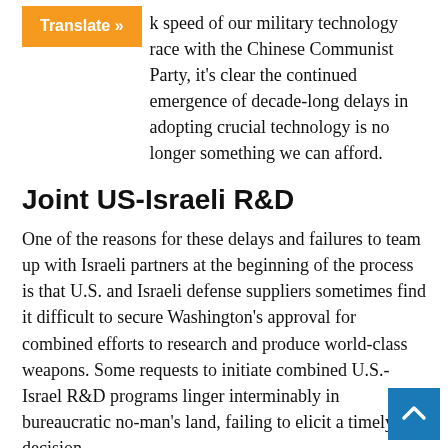k speed of our military technology race with the Chinese Communist Party, it's clear the continued emergence of decade-long delays in adopting crucial technology is no longer something we can afford.
Joint US-Israeli R&D
One of the reasons for these delays and failures to team up with Israeli partners at the beginning of the process is that U.S. and Israeli defense suppliers sometimes find it difficult to secure Washington's approval for combined efforts to research and produce world-class weapons. Some requests to initiate combined U.S.-Israel R&D programs linger interminably in bureaucratic no-man's land, failing to elicit a timely decision.
Confronted by deadly and immediate threats, Israel often has little choice but to push ahead alone with unilateral R&D programs. When that happens, the Pentagon misses out Israel's sense of urgency that could have led to the more expeditious fielding of weapons to U.S. troops. And Israel